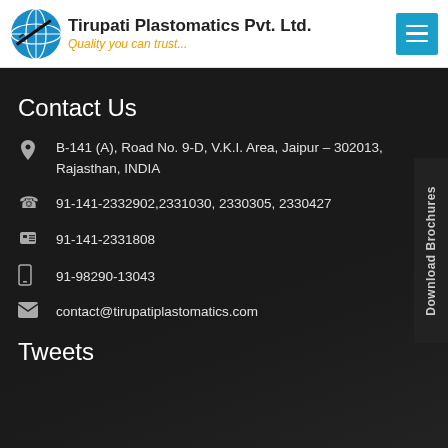Tirupati Plastomatics Pvt. Ltd. — Quality you can trust...
Contact Us
B-141 (A), Road No. 9-D, V.K.I. Area, Jaipur – 302013, Rajasthan, INDIA
91-141-2332902,2331030, 2330305, 2330427
91-141-2331808
91-98290-13043
contact@tirupatiplastomatics.com
Tweets